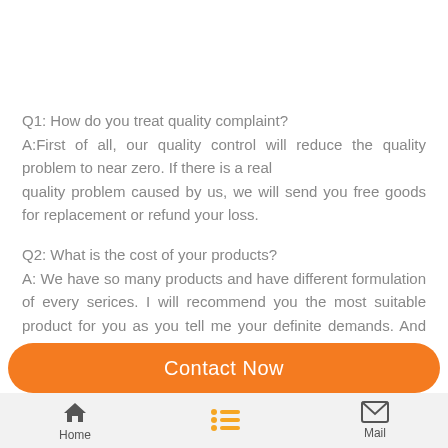Q1: How do you treat quality complaint?
A:First of all, our quality control will reduce the quality problem to near zero. If there is a real quality problem caused by us, we will send you free goods for replacement or refund your loss.
Q2: What is the cost of your products?
A: We have so many products and have different formulation of every serices. I will recommend you the most suitable product for you as you tell me your definite demands. And we will send you email including detail information and quote for you.
Contact Now
Home | Mail